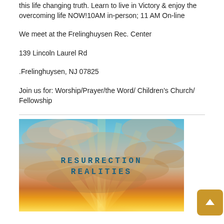this life changing truth. Learn to live in Victory & enjoy the overcoming life NOW!10AM in-person; 11 AM On-line
We meet at the Frelinghuysen Rec. Center
139 Lincoln Laurel Rd
.Frelinghuysen, NJ 07825
Join us for: Worship/Prayer/the Word/ Children's Church/ Fellowship
[Figure (photo): Sunset sky with dramatic clouds and rays of light, overlaid with text reading RESURRECTION REALITIES in bold monospaced font]